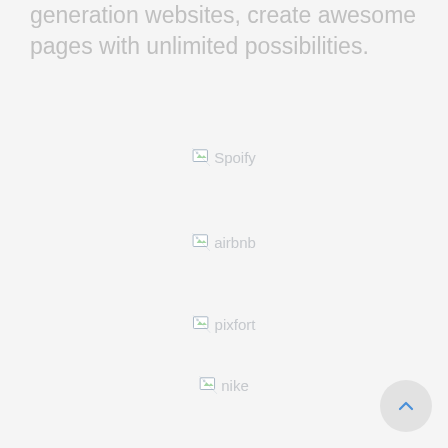generation websites, create awesome pages with unlimited possibilities.
[Figure (logo): Broken image placeholder for Spotify logo with alt text 'Spoify']
[Figure (logo): Broken image placeholder for Airbnb logo with alt text 'airbnb']
[Figure (logo): Broken image placeholder for Pixfort logo with alt text 'pixfort']
[Figure (logo): Broken image placeholder for Nike logo with alt text 'nike']